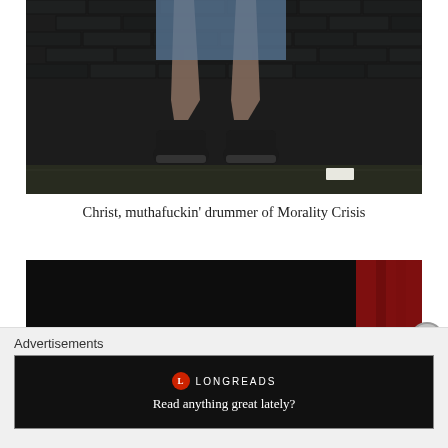[Figure (photo): Photo showing the lower body of a person standing against a dark brick wall, wearing denim shorts and black sneakers on a concrete/ground surface.]
Christ, muthafuckin' drummer of Morality Crisis
[Figure (photo): Dark, dimly lit photo showing the top of a person's head in low-light conditions. A red curtain is visible on the right side.]
Advertisements
[Figure (screenshot): Longreads advertisement banner with red circle logo, text 'LONGREADS' and tagline 'Read anything great lately?']